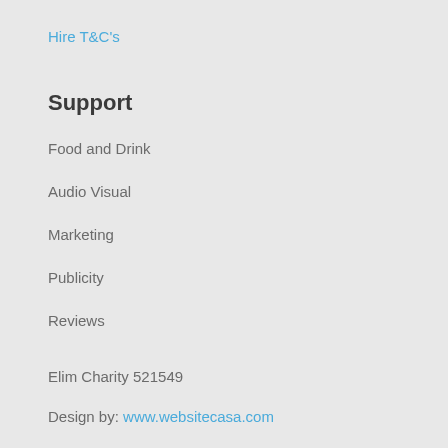Hire T&C's
Support
Food and Drink
Audio Visual
Marketing
Publicity
Reviews
Elim Charity 521549
Design by: www.websitecasa.com